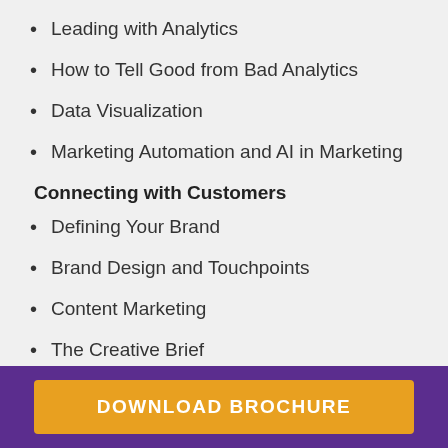Leading with Analytics
How to Tell Good from Bad Analytics
Data Visualization
Marketing Automation and AI in Marketing
Connecting with Customers
Defining Your Brand
Brand Design and Touchpoints
Content Marketing
The Creative Brief
Evaluating Communications
DOWNLOAD BROCHURE